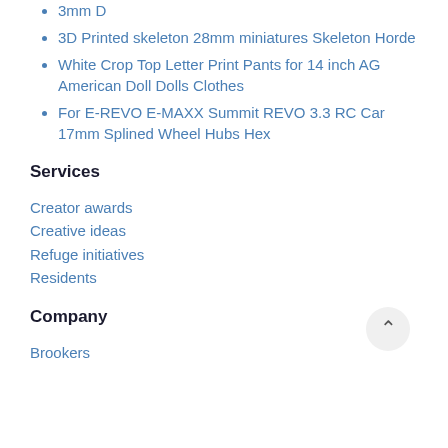3mm D
3D Printed skeleton 28mm miniatures Skeleton Horde
White Crop Top Letter Print Pants for 14 inch AG American Doll Dolls Clothes
For E-REVO E-MAXX Summit REVO 3.3 RC Car 17mm Splined Wheel Hubs Hex
Services
Creator awards
Creative ideas
Refuge initiatives
Residents
Company
Brookers